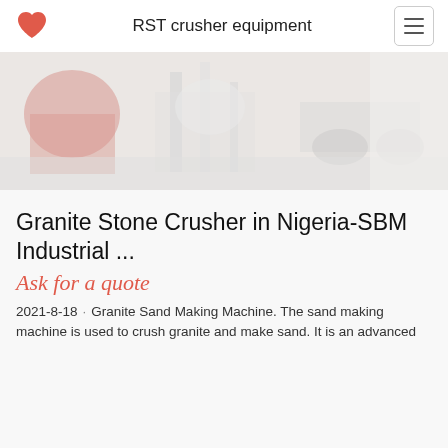RST crusher equipment
[Figure (photo): Industrial crusher equipment machinery in a facility, faded/washed out appearance]
Granite Stone Crusher in Nigeria-SBM Industrial ...
Ask for a quote
2021-8-18 · Granite Sand Making Machine. The sand making machine is used to crush granite and make sand. It is an advanced